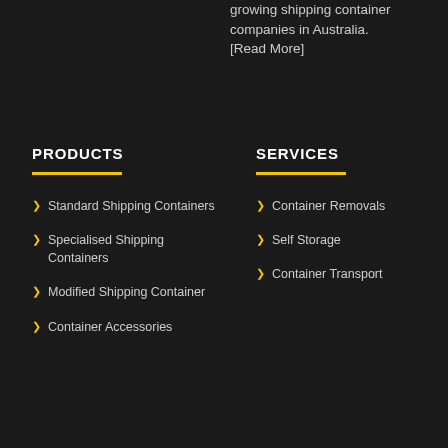growing shipping container companies in Australia. [Read More]
PRODUCTS
SERVICES
Standard Shipping Containers
Specialised Shipping Containers
Modified Shipping Container
Container Accessories
Container Removals
Self Storage
Container Transport